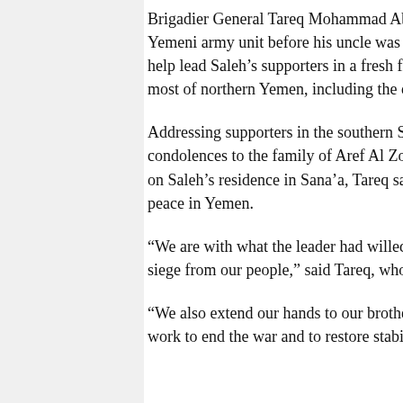Brigadier General Tareq Mohammad Abdullah Saleh, who led a brigade from an elite Yemeni army unit before his uncle was forced to step down in 2012, had been expected to help lead Saleh's supporters in a fresh fight against the Iran-aligned Al Houthis, who control most of northern Yemen, including the capital, Sana'a.
Addressing supporters in the southern Shabwa province where he had travelled to offer condolences to the family of Aref Al Zouka, who was killed along with Saleh in the attack on Saleh's residence in Sana'a, Tareq said he remained committed to his uncle's quest for peace in Yemen.
“We are with what the leader had willed, especially his demand to stop the war, lifting the siege from our people,” said Tareq, who survived the attack by Al Houthi forces.
“We also extend our hands to our brothers, particularly the kingdom of Saudi Arabia, to work to end the war and to restore stability